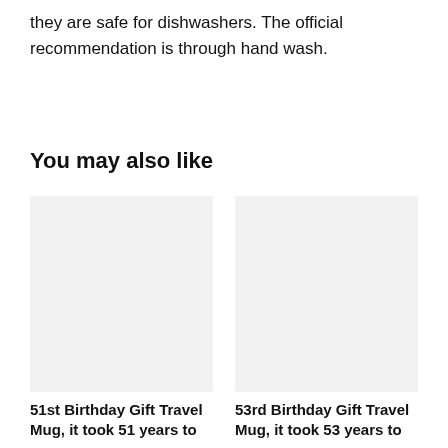they are safe for dishwashers. The official recommendation is through hand wash.
You may also like
[Figure (photo): Placeholder image for 51st Birthday Gift Travel Mug product]
51st Birthday Gift Travel Mug, it took 51 years to
[Figure (photo): Placeholder image for 53rd Birthday Gift Travel Mug product]
53rd Birthday Gift Travel Mug, it took 53 years to